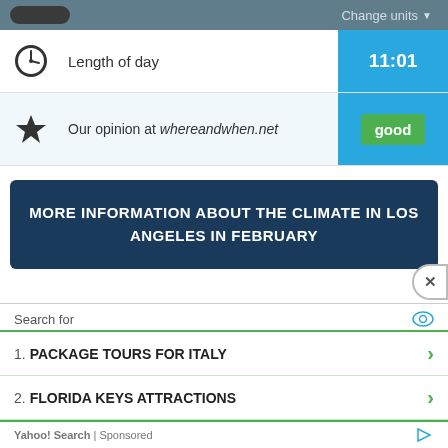[Figure (screenshot): Partial top bar with dark pill shape and 'Change units' dropdown button on gray background]
Length of day — 11:01
Our opinion at whereandwhen.net — good
MORE INFORMATION ABOUT THE CLIMATE IN LOS ANGELES IN FEBRUARY
[Figure (screenshot): Advertisement panel: Search for — 1. PACKAGE TOURS FOR ITALY, 2. FLORIDA KEYS ATTRACTIONS, Yahoo! Search | Sponsored]